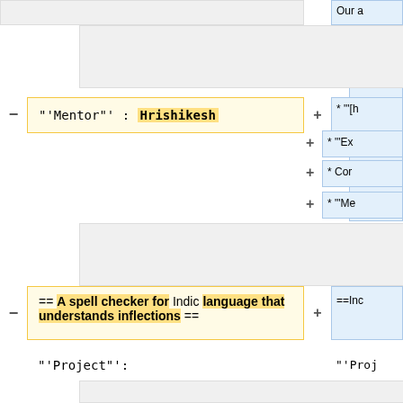(empty gray box - left top)
Our a requi has h need
− "'Mentor"' : Hrishikesh
+ * "'[h
+ * "'Ex
+ * Cor
+ * "'Me
(empty gray box - left middle)
− == A spell checker for Indic language that understands inflections ==
+ ==Inc
"'Project"':
"'Proj